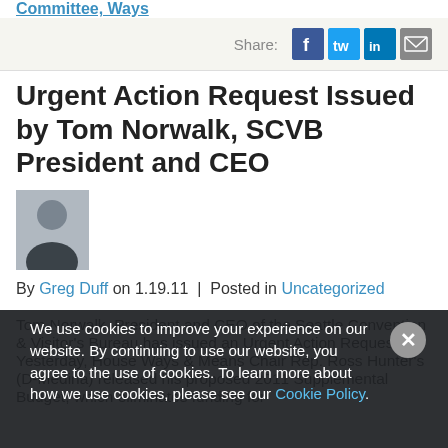Committee, Ways
Share:
Urgent Action Request Issued by Tom Norwalk, SCVB President and CEO
[Figure (photo): Headshot photo of a man wearing glasses and a dark suit jacket]
By Greg Duff on 1.19.11  |  Posted in Uncategorized
Tom Norwalk, President and CEO of the Seattle Convention & Visitor's Bureau has issued an Urgent Action Request. Yesterday, House Ways & Means Chair Rep. Ross Hunter's (D-Medina) released his proposed 2011 Supplemental Budget, which eliminates funding for
We use cookies to improve your experience on our website. By continuing to use our website, you agree to the use of cookies. To learn more about how we use cookies, please see our Cookie Policy.